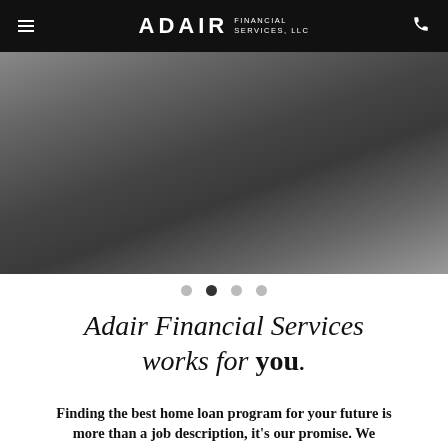ADAIR FINANCIAL SERVICES, LLC
[Figure (photo): Dark gradient hero image background transitioning from gray-black tones]
• • • •  (carousel navigation dots, second dot active)
Adair Financial Services works for you.
Finding the best home loan program for your future is more than a job description, it's our promise. We